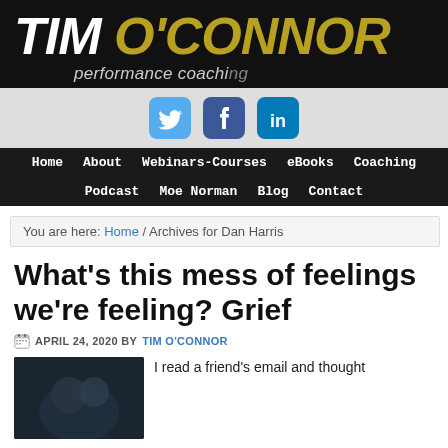TIM O'CONNOR performance coaching
[Figure (other): Social media icons: Twitter (blue bird), Facebook (blue f), LinkedIn (blue in)]
Home | About | Webinars-Courses | eBooks | Coaching | Podcast | Moe Norman | Blog | Contact
You are here: Home / Archives for Dan Harris
What's this mess of feelings we're feeling? Grief
APRIL 24, 2020 BY TIM O'CONNOR
I read a friend's email and thought